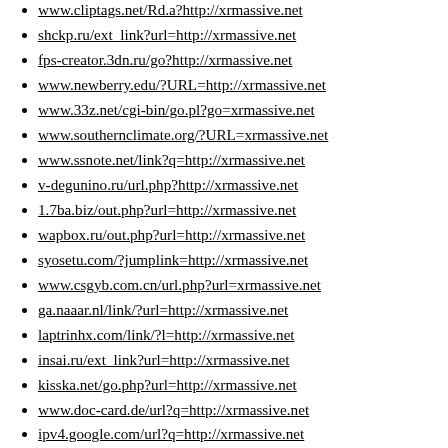www.cliptags.net/Rd.a?http://xrmassive.net
shckp.ru/ext_link?url=http://xrmassive.net
fps-creator.3dn.ru/go?http://xrmassive.net
www.newberry.edu/?URL=http://xrmassive.net
www.33z.net/cgi-bin/go.pl?go=xrmassive.net
www.southernclimate.org/?URL=xrmassive.net
www.ssnote.net/link?q=http://xrmassive.net
v-degunino.ru/url.php?http://xrmassive.net
1.7ba.biz/out.php?url=http://xrmassive.net
wapbox.ru/out.php?url=http://xrmassive.net
syosetu.com/?jumplink=http://xrmassive.net
www.csgyb.com.cn/url.php?url=xrmassive.net
ga.naaar.nl/link/?url=http://xrmassive.net
laptrinhx.com/link/?l=http://xrmassive.net
insai.ru/ext_link?url=http://xrmassive.net
kisska.net/go.php?url=http://xrmassive.net
www.doc-card.de/url?q=http://xrmassive.net
ipv4.google.com/url?q=http://xrmassive.net
andreasgraef.de/url?q=http://xrmassive.net